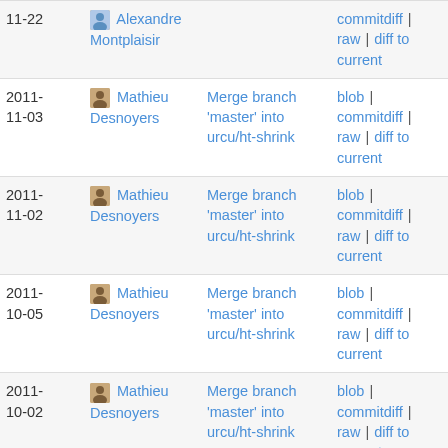| Date | Author | Commit message | Links |
| --- | --- | --- | --- |
| 2011-11-22 | Alexandre Montplaisir |  | commitdiff | raw | diff to current |
| 2011-11-03 | Mathieu Desnoyers | Merge branch 'master' into urcu/ht-shrink | blob | commitdiff | raw | diff to current |
| 2011-11-02 | Mathieu Desnoyers | Merge branch 'master' into urcu/ht-shrink | blob | commitdiff | raw | diff to current |
| 2011-10-05 | Mathieu Desnoyers | Merge branch 'master' into urcu/ht-shrink | blob | commitdiff | raw | diff to current |
| 2011-10-02 | Mathieu Desnoyers | Merge branch 'master' into urcu/ht-shrink | blob | commitdiff | raw | diff to current |
| 2011-10-02 | Mathieu Desnoyers | Enhance API.txt documentation, add to Makefile as EXTRA | blob | commitdiff |